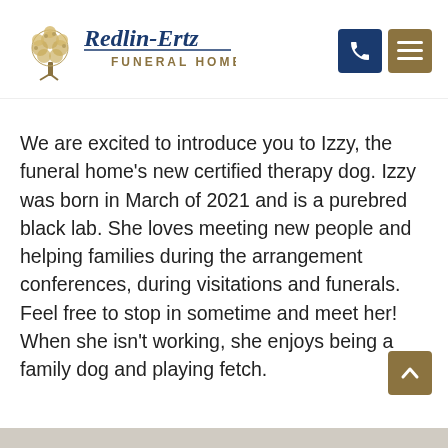[Figure (logo): Redlin-Ertz Funeral Home logo with decorative tree and serif/script lettering]
We are excited to introduce you to Izzy, the funeral home's new certified therapy dog. Izzy was born in March of 2021 and is a purebred black lab. She loves meeting new people and helping families during the arrangement conferences, during visitations and funerals. Feel free to stop in sometime and meet her! When she isn't working, she enjoys being a family dog and playing fetch.